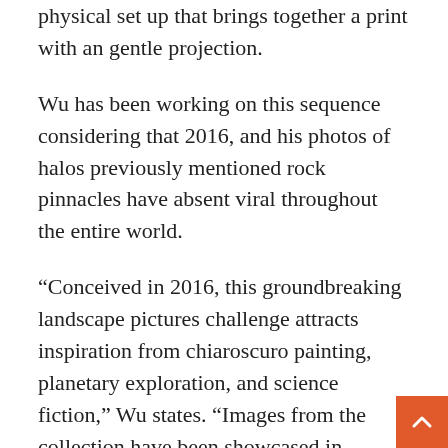physical set up that brings together a print with an gentle projection.
Wu has been working on this sequence considering that 2016, and his photos of halos previously mentioned rock pinnacles have absent viral throughout the entire world.
“Conceived in 2016, this groundbreaking landscape pictures challenge attracts inspiration from chiaroscuro painting, planetary exploration, and science fiction,” Wu states. “Images from the collection have been showcased in Nationwide Geographic, Time and Wired, and the printed compendium is aspect of the lasting selection at the Guggenheim, MoMA and Met museums.”
“An Electric powered Storm” is a recently remast